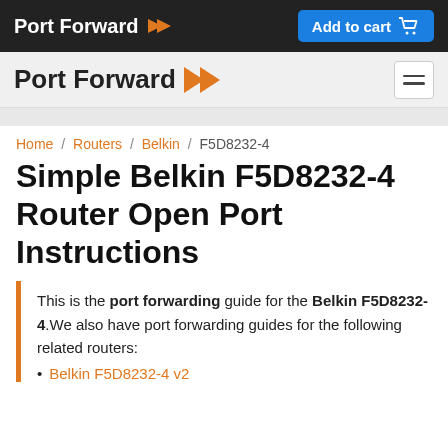Port Forward | Add to cart
Port Forward
Home / Routers / Belkin / F5D8232-4
Simple Belkin F5D8232-4 Router Open Port Instructions
This is the port forwarding guide for the Belkin F5D8232-4.We also have port forwarding guides for the following related routers:
Belkin F5D8232-4 v2